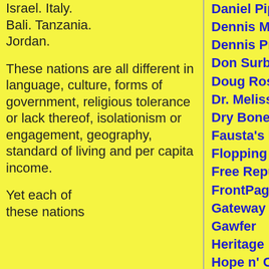Israel. Italy. Bali. Tanzania. Jordan.
These nations are all different in language, culture, forms of government, religious tolerance or lack thereof, isolationism or engagement, geography, standard of living and per capita income.
Yet each of these nations
Daniel Pipes
Dennis Miller
Dennis Prager
Don Surber
Doug Ross
Dr. Melissa Clouthier
Dry Bones Blog
Fausta's Blog
Flopping Aces
Free Republic
FrontPage Magazine
Gateway Pundit
Gawfer
Heritage
Hope n' Change Cartoons
Hot Air
Human Events
IMAO